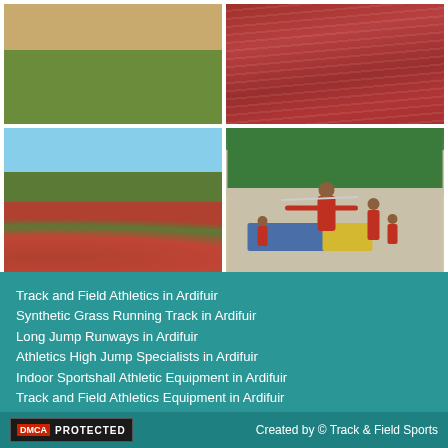[Figure (photo): Top-left: Sandy and grassy surface, possibly a long jump runway area]
[Figure (photo): Top-right: Close-up of red synthetic running track surface with lane markings]
[Figure (photo): Bottom-left: Outdoor athletics track with red running lanes, green infield, trees in background]
[Figure (photo): Bottom-right: Indoor sportshall with children doing athletics, one child throwing a javelin with arms outstretched]
Track and Field Athletics in Ardifuir
Synthetic Grass Running Track in Ardifuir
Long Jump Runways in Ardifuir
Athletics High Jump Specialists in Ardifuir
Indoor Sportshall Athletic Equipment in Ardifuir
Track and Field Athletics Equipment in Ardifuir
DMCA PROTECTED    Created by © Track & Field Sports